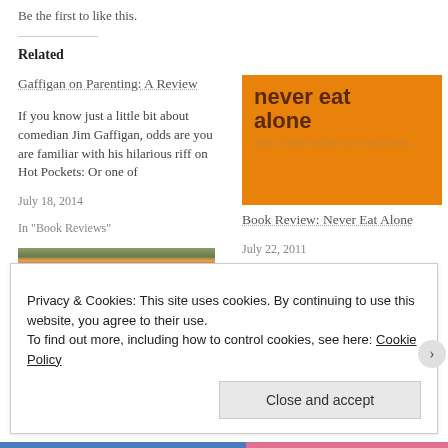Be the first to like this.
Related
Gaffigan on Parenting: A Review
If you know just a little bit about comedian Jim Gaffigan, odds are you are familiar with his hilarious riff on Hot Pockets: Or one of
July 18, 2014
In "Book Reviews"
[Figure (photo): Book cover of 'Never Eat Alone and Other Secrets to Success' with orange background and dark brown text]
Book Review: Never Eat Alone
July 22, 2011
In "Book Reviews"
[Figure (photo): Thumbnail image of a colorful flower field with rows of different colored flowers]
Privacy & Cookies: This site uses cookies. By continuing to use this website, you agree to their use.
To find out more, including how to control cookies, see here: Cookie Policy
Close and accept